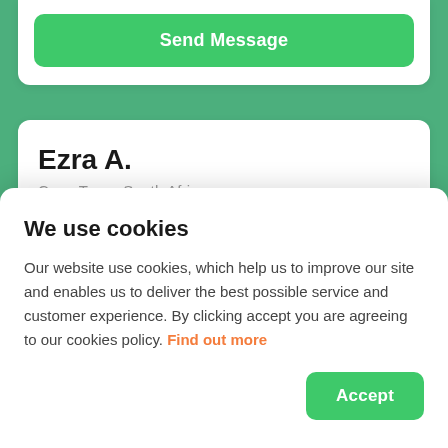Send Message
Ezra A.
Cape Town, South Africa
Bronze
R150/hr
1 class
We use cookies
Our website use cookies, which help us to improve our site and enables us to deliver the best possible service and customer experience. By clicking accept you are agreeing to our cookies policy. Find out more
Accept